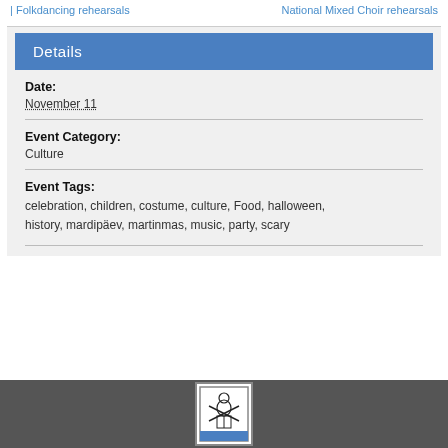| Folkdancing rehearsals   National Mixed Choir rehearsals
Details
Date:
November 11
Event Category:
Culture
Event Tags:
celebration, children, costume, culture, Food, halloween, history, mardipäev, martinmas, music, party, scary
[Figure (logo): Coat of arms or institutional logo showing a figure with sword, black and white illustration with blue accent at bottom, in a rectangular border]